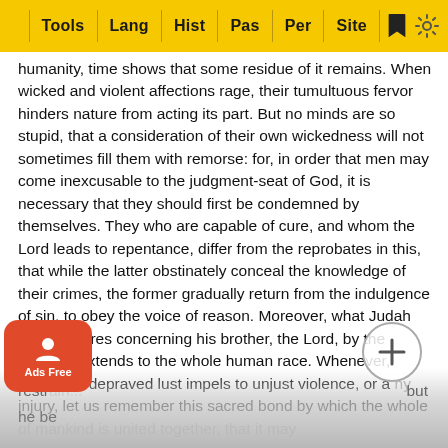Tools | Lang | Hist | Pas | Per | Site
humanity, time shows that some residue of it remains. When wicked and violent affections rage, their tumultuous fervor hinders nature from acting its part. But no minds are so stupid, that a consideration of their own wickedness will not sometimes fill them with remorse: for, in order that men may come inexcusable to the judgment-seat of God, it is necessary that they should first be condemned by themselves. They who are capable of cure, and whom the Lord leads to repentance, differ from the reprobates in this, that while the latter obstinately conceal the knowledge of their crimes, the former gradually return from the indulgence of sin, to obey the voice of reason. Moreover, what Judah here declares concerning his brother, the Lord, by the prophet, extends to the whole human race. Whenever, therefore, depraved lust impels to unjust violence, or any injury, let us remember this sacred bond by which the whole of mankind is united together, that it may restrain... but he be...